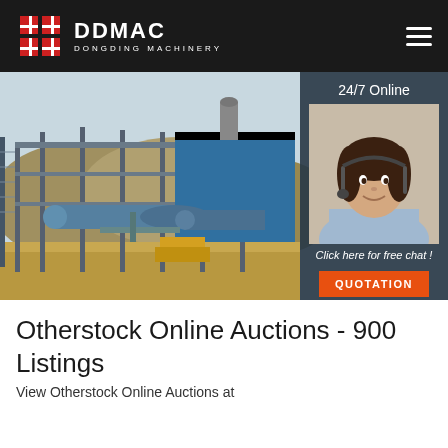DDMAC DONGDING MACHINERY
[Figure (photo): Industrial machinery facility with large cylindrical rotary dryers in blue and grey metal structures, against a hillside background. Overlay panel on right shows a customer service agent (24/7 Online), text 'Click here for free chat!', and an orange QUOTATION button.]
Otherstock Online Auctions - 900 Listings
View Otherstock Online Auctions at